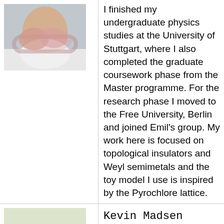[Figure (photo): Photo of a person wearing a scarf, cropped at torso, light background.]
I finished my undergraduate physics studies at the University of Stuttgart, where I also completed the graduate coursework phase from the Master programme. For the research phase I moved to the Free University, Berlin and joined Emil's group. My work here is focused on topological insulators and Weyl semimetals and the toy model I use is inspired by the Pyrochlore lattice.
[Figure (photo): Photo of Kevin Madsen, a young man with dark hair and beard, wearing a green sweater, smiling.]
Kevin Madsen
Master Student
kevin.madsen [at] fu-berlin.de
I recieved my bachelors degree